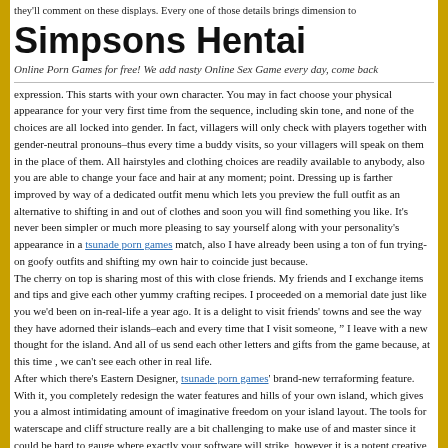they'll comment on these displays. Every one of those details brings dimension to
Simpsons Hentai
Online Porn Games for free! We add nasty Online Sex Game every day, come back
expression. This starts with your own character. You may in fact choose your physical appearance for your very first time from the sequence, including skin tone, and none of the choices are all locked into gender. In fact, villagers will only check with players together with gender-neutral pronouns–thus every time a buddy visits, so your villagers will speak on them in the place of them. All hairstyles and clothing choices are readily available to anybody, also you are able to change your face and hair at any moment; point. Dressing up is farther improved by way of a dedicated outfit menu which lets you preview the full outfit as an alternative to shifting in and out of clothes and soon you will find something you like. It's never been simpler or much more pleasing to say yourself along with your personality's appearance in a tsunade porn games match, also I have already been using a ton of fun trying-on goofy outfits and shifting my own hair to coincide just because.
The cherry on top is sharing most of this with close friends. My friends and I exchange items and tips and give each other yummy crafting recipes. I proceeded on a memorial date just like you we'd been on in-real-life a year ago. It is a delight to visit friends' towns and see the way they have adorned their islands–each and every time that I visit someone, " I leave with a new thought for the island. And all of us send each other letters and gifts from the game because, at this time , we can't see each other in real life.
After which there's Eastern Designer, tsunade porn games' brand-new terraforming feature. With it, you completely redesign the water features and hills of your own island, which gives you a almost intimidating amount of imaginative freedom on your island layout. The tools for waterscape and cliff structure really are a bit challenging to make use of and master since it could be hard to gauge where exactly your software will strike, however it is a potent creative software overall. You might also cause avenues, plazas, flower beds, and much more–and it's a substantial improvement on precisely the same in